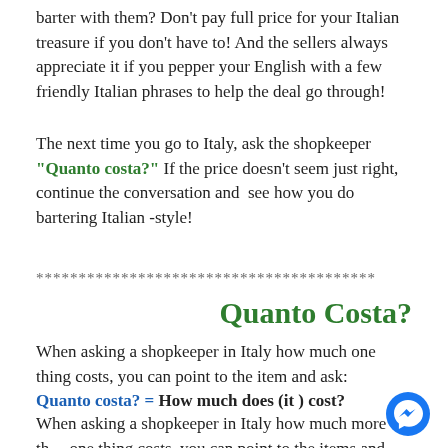barter with them? Don't pay full price for your Italian treasure if you don't have to! And the sellers always appreciate it if you pepper your English with a few friendly Italian phrases to help the deal go through!
The next time you go to Italy, ask the shopkeeper "Quanto costa?" If the price doesn't seem just right, continue the conversation and see how you do bartering Italian -style!
****************************************
Quanto Costa?
When asking a shopkeeper in Italy how much one thing costs, you can point to the item and ask:
Quanto costa? =  How much does (it ) cost?
When asking a shopkeeper in Italy how much more than one thing costs, you can point to the items and ask: